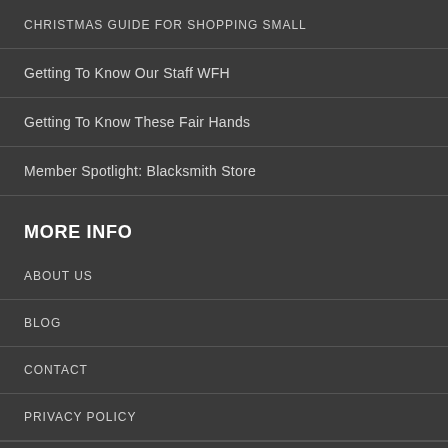CHRISTMAS GUIDE FOR SHOPPING SMALL
Getting To Know Our Staff WFH
Getting To Know These Fair Hands
Member Spotlight: Blacksmith Store
MORE INFO
ABOUT US
BLOG
CONTACT
PRIVACY POLICY